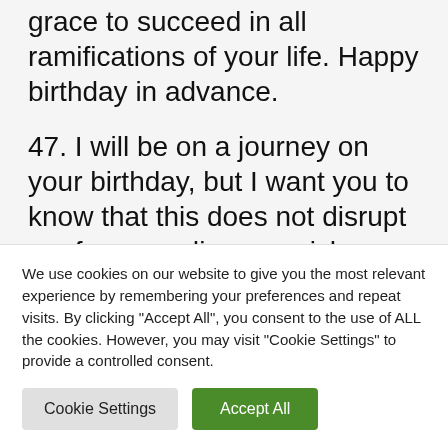grace to succeed in all ramifications of your life. Happy birthday in advance.
47. I will be on a journey on your birthday, but I want you to know that this does not disrupt me from sending my wishes even from this day forth, darling. I am wishing you a more better life, clearer visions of God's purpose for your life and an expected
We use cookies on our website to give you the most relevant experience by remembering your preferences and repeat visits. By clicking "Accept All", you consent to the use of ALL the cookies. However, you may visit "Cookie Settings" to provide a controlled consent.